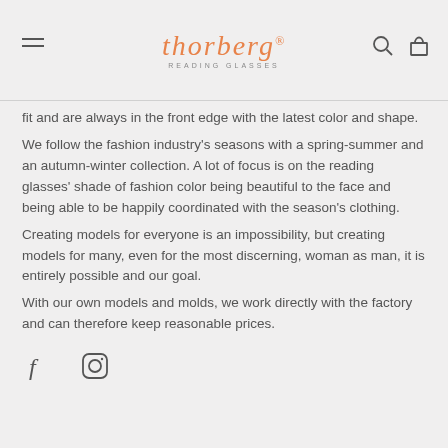thorberg READING GLASSES
fit and are always in the front edge with the latest color and shape.
We follow the fashion industry's seasons with a spring-summer and an autumn-winter collection. A lot of focus is on the reading glasses' shade of fashion color being beautiful to the face and being able to be happily coordinated with the season's clothing.
Creating models for everyone is an impossibility, but creating models for many, even for the most discerning, woman as man, it is entirely possible and our goal.
With our own models and molds, we work directly with the factory and can therefore keep reasonable prices.
[Figure (other): Social media icons: Facebook (f) and Instagram (camera outline)]